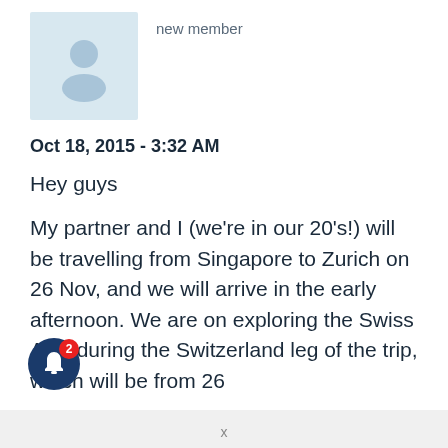[Figure (illustration): User avatar placeholder: light blue rectangle with a generic person silhouette icon in white/grey]
new member
Oct 18, 2015 - 3:32 AM
Hey guys

My partner and I (we're in our 20's!) will be travelling from Singapore to Zurich on 26 Nov, and we will arrive in the early afternoon. We are on exploring the Swiss Alps during the Switzerland leg of the trip, which will be from 26